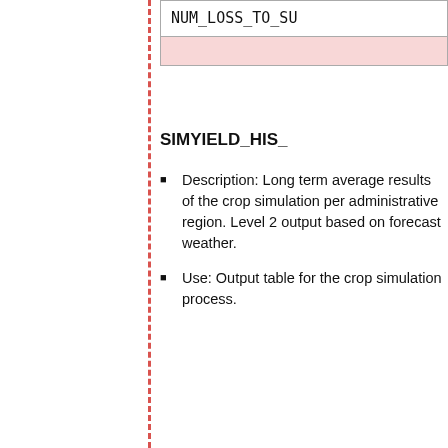| NUM_LOSS_TO_SU... |
| --- |
|  |
SIMYIELD_HIS_
Description: Long term average results of the crop simulation per administrative region. Level 2 output based on forecast weather.
Use: Output table for the crop simulation process.